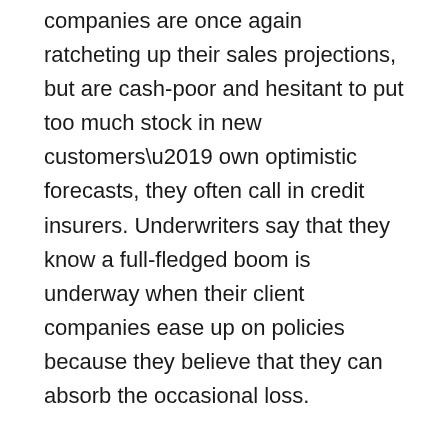companies are once again ratcheting up their sales projections, but are cash-poor and hesitant to put too much stock in new customers' own optimistic forecasts, they often call in credit insurers. Underwriters say that they know a full-fledged boom is underway when their client companies ease up on policies because they believe that they can absorb the occasional loss.
“For us, when the economy is down, people don’t want to spend the money,” says Daniel Boccara, chief executive of Coface North America, based in New York. “When the economy is picking up again, companies realize that they can afford to subscribe – it means that people are taking calculated risks.”